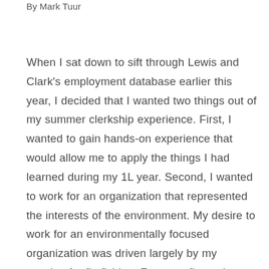By Mark Tuur
When I sat down to sift through Lewis and Clark's employment database earlier this year, I decided that I wanted two things out of my summer clerkship experience. First, I wanted to gain hands-on experience that would allow me to apply the things I had learned during my 1L year. Second, I wanted to work for an organization that represented the interests of the environment. My desire to work for an environmentally focused organization was driven largely by my passion for fly-fishing. For most fly-anglers, environmentalism